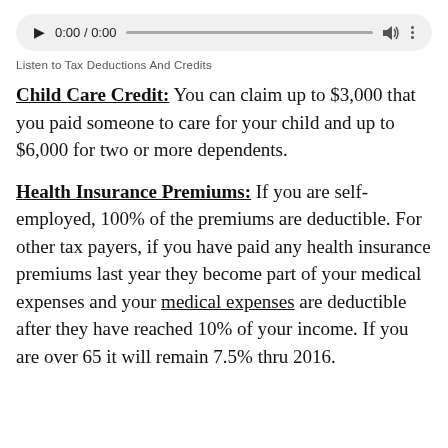[Figure (other): Audio player widget showing play button, time 0:00 / 0:00, progress bar, volume icon, and more options icon]
Listen to Tax Deductions And Credits
Child Care Credit: You can claim up to $3,000 that you paid someone to care for your child and up to $6,000 for two or more dependents.
Health Insurance Premiums: If you are self-employed, 100% of the premiums are deductible. For other tax payers, if you have paid any health insurance premiums last year they become part of your medical expenses and your medical expenses are deductible after they have reached 10% of your income. If you are over 65 it will remain 7.5% thru 2016.